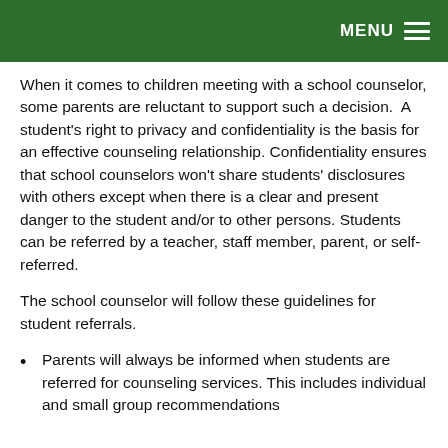MENU
When it comes to children meeting with a school counselor, some parents are reluctant to support such a decision.  A student's right to privacy and confidentiality is the basis for an effective counseling relationship. Confidentiality ensures that school counselors won't share students' disclosures with others except when there is a clear and present danger to the student and/or to other persons. Students can be referred by a teacher, staff member, parent, or self-referred.
The school counselor will follow these guidelines for student referrals.
Parents will always be informed when students are referred for counseling services. This includes individual and small group recommendations